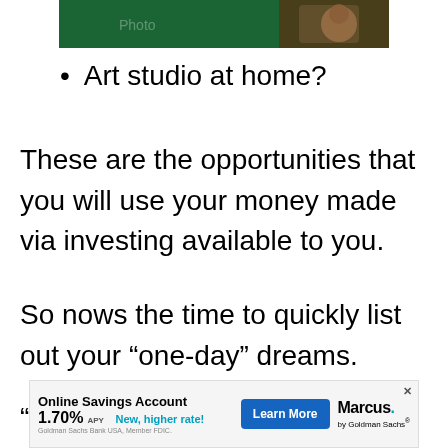[Figure (photo): Partial image of an animated character against a dark green background, cropped at the top of the page.]
Art studio at home?
These are the opportunities that you will use your money made via investing available to you.
So nows the time to quickly list out your “one-day” dreams.
“one day I want to…”
[Figure (screenshot): Online Savings Account advertisement banner from Marcus by Goldman Sachs. Shows 1.70% APY, New, higher rate!, a Learn More button, and the Marcus by Goldman Sachs logo. Goldman Sachs Bank USA, Member FDIC.]